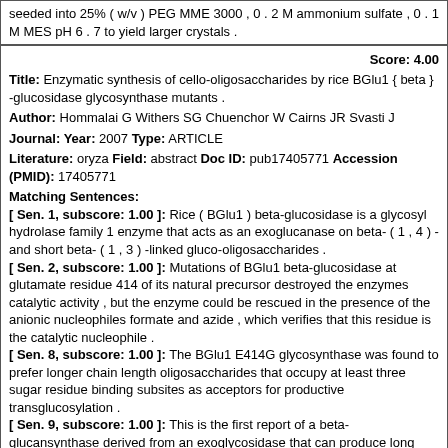seeded into 25% ( w/v ) PEG MME 3000 , 0 . 2 M ammonium sulfate , 0 . 1 M MES pH 6 . 7 to yield larger crystals .
Score: 4.00
Title: Enzymatic synthesis of cello-oligosaccharides by rice BGlu1 { beta } -glucosidase glycosynthase mutants .
Author: Hommalai G Withers SG Chuenchor W Cairns JR Svasti J
Journal: Year: 2007 Type: ARTICLE
Literature: oryza Field: abstract Doc ID: pub17405771 Accession (PMID): 17405771
Matching Sentences: [ Sen. 1, subscore: 1.00 ]: Rice ( BGlu1 ) beta-glucosidase is a glycosyl hydrolase family 1 enzyme that acts as an exoglucanase on beta- ( 1 , 4 ) - and short beta- ( 1 , 3 ) -linked gluco-oligosaccharides . [ Sen. 2, subscore: 1.00 ]: Mutations of BGlu1 beta-glucosidase at glutamate residue 414 of its natural precursor destroyed the enzymes catalytic activity , but the enzyme could be rescued in the presence of the anionic nucleophiles formate and azide , which verifies that this residue is the catalytic nucleophile . [ Sen. 8, subscore: 1.00 ]: The BGlu1 E414G glycosynthase was found to prefer longer chain length oligosaccharides that occupy at least three sugar residue binding subsites as acceptors for productive transglucosylation . [ Sen. 9, subscore: 1.00 ]: This is the first report of a beta-glucansynthase derived from an exoglycosidase that can produce long chain cello-oligosaccharides , which likely reflects the extended oligosaccharide binding site of rice BGlu1 beta-glucosidase .
Score: 3.00